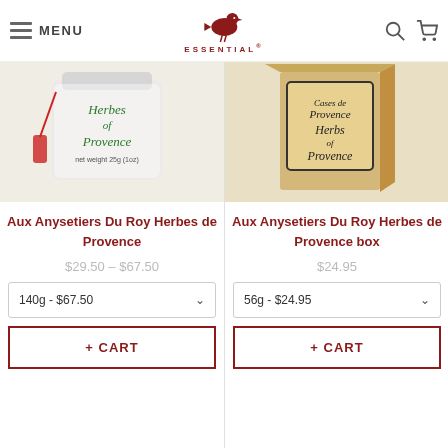MENU | ESSENTIAL
[Figure (photo): Glass jar labeled Herbes de Provence with red tassel, frosted glass]
[Figure (photo): Cardboard box labeled Herbes de Provence]
Aux Anysetiers Du Roy Herbes de Provence
Aux Anysetiers Du Roy Herbes de Provence box
$29.50 – $67.50
$24.95
140g - $67.50
56g - $24.95
+ CART
+ CART